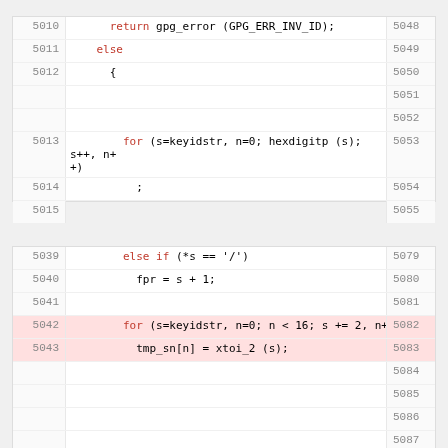[Figure (screenshot): Code diff view showing C source code lines 5010-5048 with line numbers on left and right sides. Some lines highlighted in pink indicating changes. Code shows gpg_error returns, for loops, and conditional statements.]